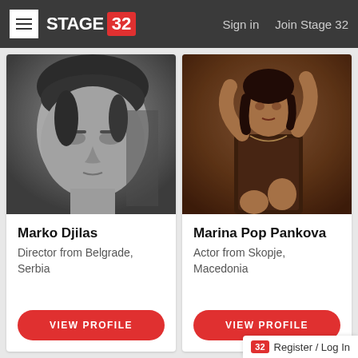Stage 32 — Sign in   Join Stage 32
[Figure (photo): Black and white close-up portrait of Marko Djilas, a man looking downward]
Marko Djilas
Director from Belgrade, Serbia
VIEW PROFILE
[Figure (photo): Sepia-toned portrait of Marina Pop Pankova, a woman posing with arms raised wearing a corset]
Marina Pop Pankova
Actor from Skopje, Macedonia
VIEW PROFILE
Register / Log In